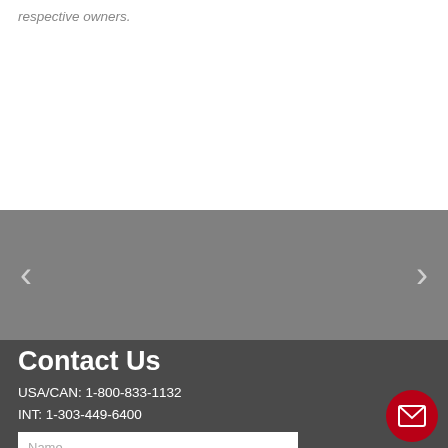respective owners.
[Figure (other): Carousel navigation area with left and right arrow buttons on a gray background]
Contact Us
USA/CAN: 1-800-833-1132
INT: 1-303-449-6400
[Figure (other): Name input field placeholder]
[Figure (other): Email input field placeholder]
[Figure (other): Red circular email/contact button with envelope icon]